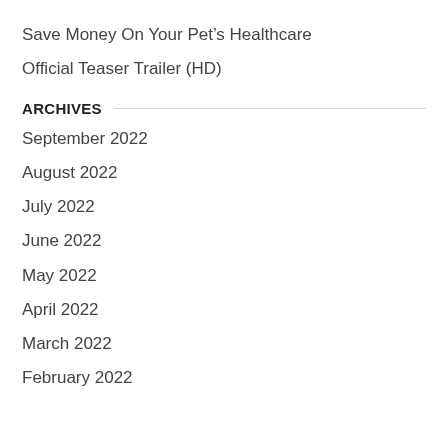Save Money On Your Pet's Healthcare
Official Teaser Trailer (HD)
ARCHIVES
September 2022
August 2022
July 2022
June 2022
May 2022
April 2022
March 2022
February 2022